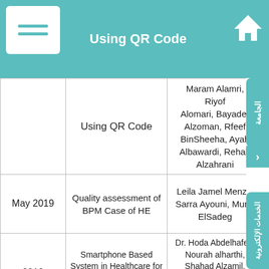| Date | Title | Authors |
| --- | --- | --- |
|  | Using QR Code | Maram Alamri, Riyof Alomari, Bayader Alzoman, Rfeef BinSheeha, Ayah Albawardi, Rehab Alzahrani |
| May 2019 | Quality assessment of BPM Case of HE | Leila Jamel Menzli, Sarra Ayouni, Muna ElSadeg |
| 2019 | Smartphone Based System in Healthcare for Cancer and Heart Disease Patients | Dr. Hoda Abdelhafez, Nourah alharthi, Shahad Alzamil, Fatmah Alamri Meaad Alamri and Mashael Al-Saud |